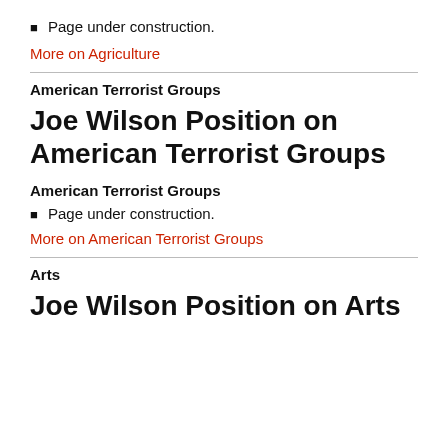Page under construction.
More on Agriculture
American Terrorist Groups
Joe Wilson Position on American Terrorist Groups
American Terrorist Groups
Page under construction.
More on American Terrorist Groups
Arts
Joe Wilson Position on Arts